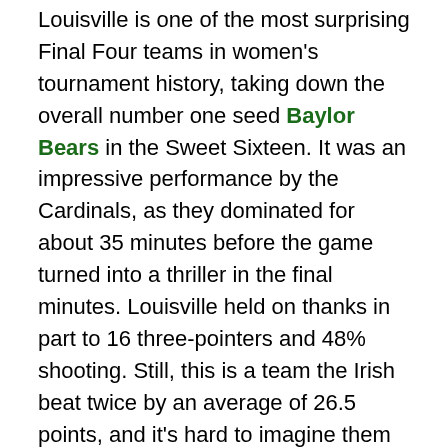Louisville is one of the most surprising Final Four teams in women's tournament history, taking down the overall number one seed Baylor Bears in the Sweet Sixteen. It was an impressive performance by the Cardinals, as they dominated for about 35 minutes before the game turned into a thriller in the final minutes. Louisville held on thanks in part to 16 three-pointers and 48% shooting. Still, this is a team the Irish beat twice by an average of 26.5 points, and it's hard to imagine them taking down either Big East opponent that embarrassed them in the regular season. Crazier things have happened, I suppose.
For their part, the Cal Golden Bears have needed two overtime victories to navigate their way into the Final Four. They enter the Final Four with only three losses on the season, albeit against a fairly weak schedule.